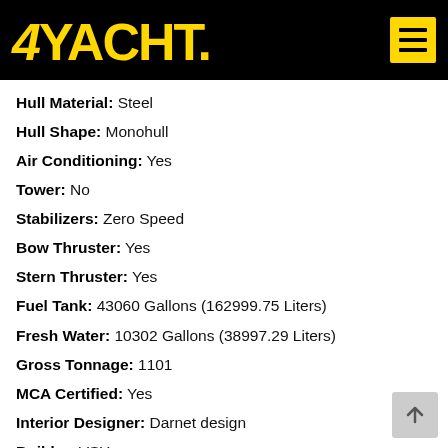4YACHT
Hull Material: Steel
Hull Shape: Monohull
Air Conditioning: Yes
Tower: No
Stabilizers: Zero Speed
Bow Thruster: Yes
Stern Thruster: Yes
Fuel Tank: 43060 Gallons (162999.75 Liters)
Fresh Water: 10302 Gallons (38997.29 Liters)
Gross Tonnage: 1101
MCA Certified: Yes
Interior Designer: Darnet design
Builder: VSY